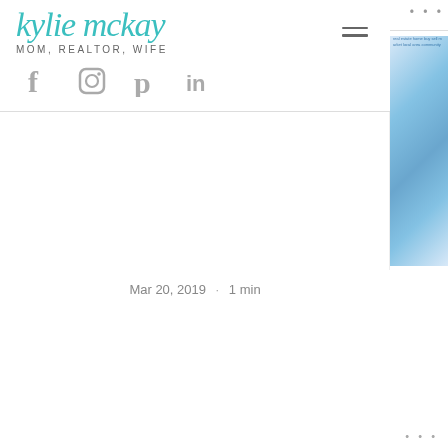kylie mckay MOM, REALTOR, WIFE
Mar 20, 2019  ·  1 min
[Figure (illustration): hello! cursive text greeting]
[Figure (photo): Family photo showing people outdoors with trees in background]
Phone  Email  Facebook